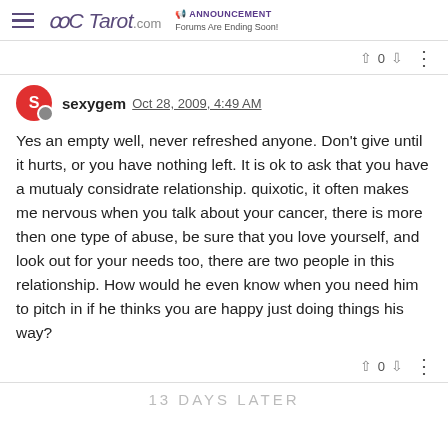Tarot.com — ANNOUNCEMENT Forums Are Ending Soon!
sexygem Oct 28, 2009, 4:49 AM
Yes an empty well, never refreshed anyone. Don't give until it hurts, or you have nothing left. It is ok to ask that you have a mutualy considrate relationship. quixotic, it often makes me nervous when you talk about your cancer, there is more then one type of abuse, be sure that you love yourself, and look out for your needs too, there are two people in this relationship. How would he even know when you need him to pitch in if he thinks you are happy just doing things his way?
13 DAYS LATER